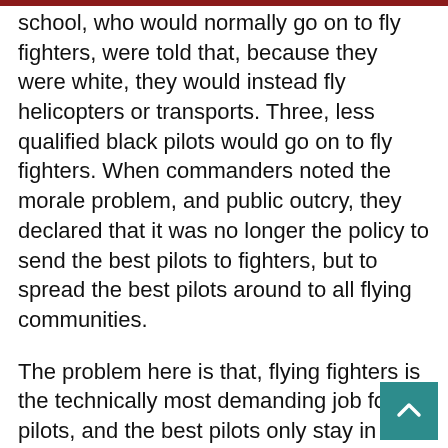school, who would normally go on to fly fighters, were told that, because they were white, they would instead fly helicopters or transports. Three, less qualified black pilots would go on to fly fighters. When commanders noted the morale problem, and public outcry, they declared that it was no longer the policy to send the best pilots to fighters, but to spread the best pilots around to all flying communities.
The problem here is that, flying fighters is the technically most demanding job for pilots, and the best pilots only stay in the SAAF to fly fighters. If they wanted to fly helicopters or transports, they could make more money, and fly more often, as civilian pilots. So the SAAF is ending up with less competent fighter pilots (which will probably result in more accidents), and fewer, and less capable, helicopter and transport pilots as well. Since the